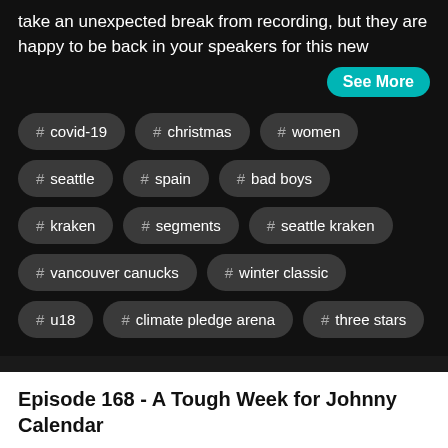take an unexpected break from recording, but they are happy to be back in your speakers for this new
See More
# covid-19
# christmas
# women
# seattle
# spain
# bad boys
# kraken
# segments
# seattle kraken
# vancouver canucks
# winter classic
# u18
# climate pledge arena
# three stars
Episode 168 - A Tough Week for Johnny Calendar